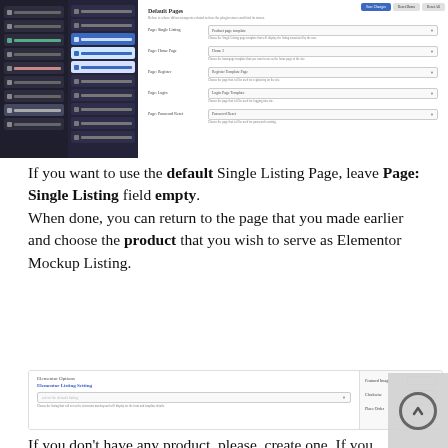[Figure (screenshot): WordPress admin dashboard screenshot showing Default Pages settings panel with Page Single Listing, Page Home Page, Page Register, Page Login, and Page Password Reset dropdown fields]
If you want to use the default Single Listing Page, leave Page: Single Listing field empty.
When done, you can return to the page that you made earlier and choose the product that you wish to serve as Elementor Mockup Listing.
[Figure (screenshot): Elementor Options panel showing Elementor Listing Setting field with a dropdown for selecting the page for Elementor mockup listing, alongside sidebar showing Featured Image, Clockwise, and Place Order options]
If you don't have any product, please, create one. If you don't choose a product, Elementor Single Listing